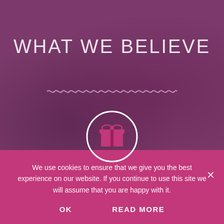WHAT WE BELIEVE
[Figure (illustration): Wavy decorative line divider in light pink/white color]
[Figure (illustration): White circle outline with a pink gift box icon inside]
We use cookies to ensure that we give you the best experience on our website. If you continue to use this site we will assume that you are happy with it.
OK
READ MORE